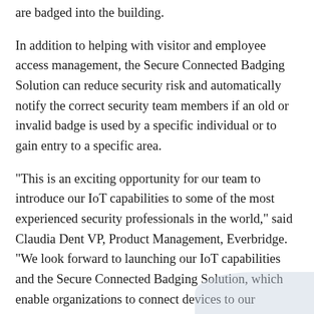are badged into the building.
In addition to helping with visitor and employee access management, the Secure Connected Badging Solution can reduce security risk and automatically notify the correct security team members if an old or invalid badge is used by a specific individual or to gain entry to a specific area.
“This is an exciting opportunity for our team to introduce our IoT capabilities to some of the most experienced security professionals in the world,” said Claudia Dent VP, Product Management, Everbridge. “We look forward to launching our IoT capabilities and the Secure Connected Badging Solution, which enable organizations to connect devices to our sophisticated communications engine. These solutions provide the context and critical alerts needed to leverage devices to connect to the right people, at the right time, to